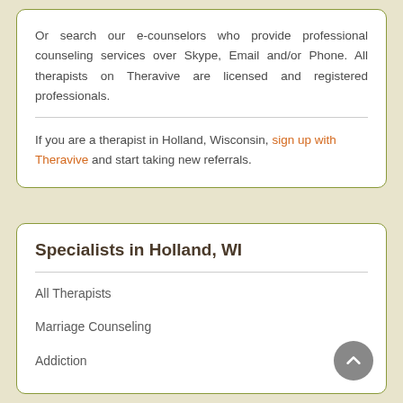Or search our e-counselors who provide professional counseling services over Skype, Email and/or Phone. All therapists on Theravive are licensed and registered professionals.
If you are a therapist in Holland, Wisconsin, sign up with Theravive and start taking new referrals.
Specialists in Holland, WI
All Therapists
Marriage Counseling
Addiction